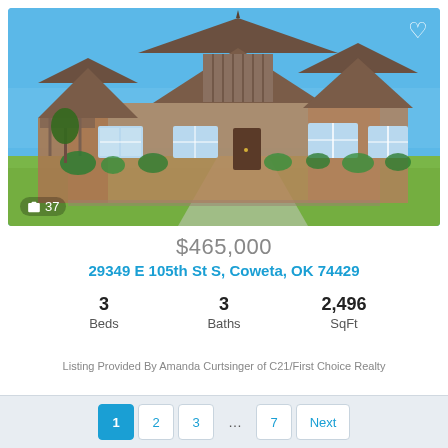[Figure (photo): Exterior photo of a brick ranch-style house with gabled roof, covered porch, and green lawn under blue sky. Shows camera icon and count '37' in bottom left, heart icon in top right.]
$465,000
29349 E 105th St S, Coweta, OK 74429
3 Beds
3 Baths
2,496 SqFt
Listing Provided By Amanda Curtsinger of C21/First Choice Realty
1  2  3  ...  7  Next